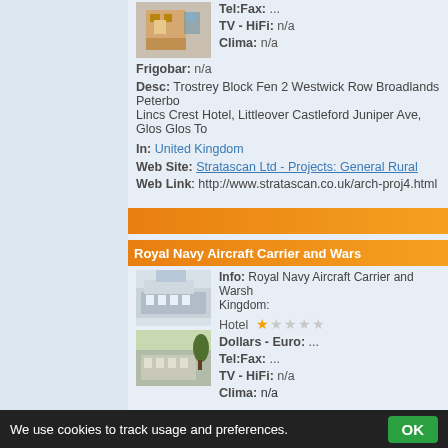Tel:Fax: ...
TV - HiFi: n/a
Clima: n/a
Frigobar: n/a
Desc: Trostrey Block Fen 2 Westwick Row Broadlands Peterborough Lincs Crest Hotel, Littleover Castleford Juniper Ave, Glos Glos To
In: United Kingdom
Web Site: Stratascan Ltd - Projects: General Rural
Web Link: http://www.stratascan.co.uk/arch-proj4.html
Royal Navy Aircraft Carrier and Wars
Info: Royal Navy Aircraft Carrier and Warsh Kingdom:
Hotel ★☆☆☆☆
Dollars - Euro: ...
Tel:Fax: ...
TV - HiFi: n/a
Clima: n/a
We use cookies to track usage and preferences.